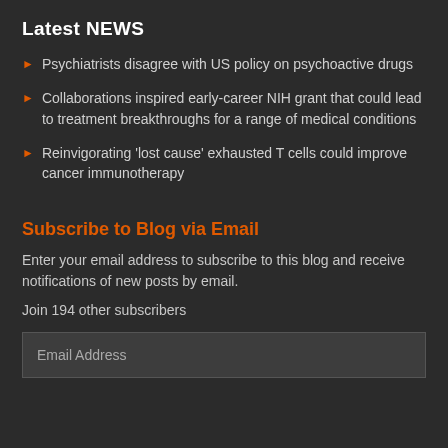Latest NEWS
Psychiatrists disagree with US policy on psychoactive drugs
Collaborations inspired early-career NIH grant that could lead to treatment breakthroughs for a range of medical conditions
Reinvigorating 'lost cause' exhausted T cells could improve cancer immunotherapy
Subscribe to Blog via Email
Enter your email address to subscribe to this blog and receive notifications of new posts by email.
Join 194 other subscribers
Email Address